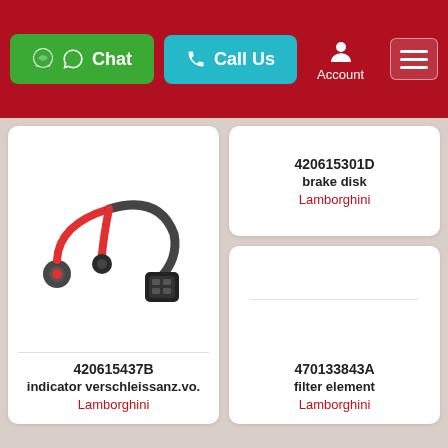Chat | Call Us | Account
[Figure (photo): Brake wear indicator sensor with red cable and black connector plug - part 420615437B]
420615437B
indicator verschleissanz.vo.
Lamborghini
420615301D
brake disk
Lamborghini
470133843A
filter element
Lamborghini